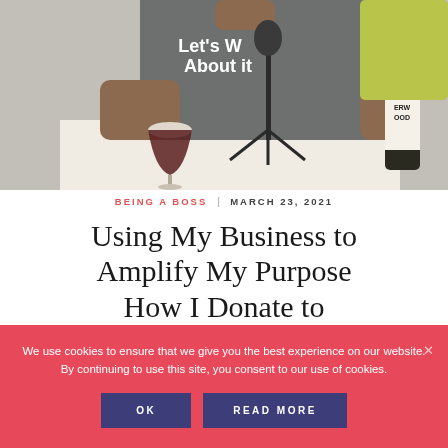[Figure (photo): Person wearing a 'Let's Wine About It' t-shirt sitting at a table with a podcast microphone on a stand, a stemless wine glass with red wine, and an Underwood wine bottle in the background.]
BEING A BOSS | MARCH 23, 2021
Using My Business to Amplify My Purpose How I Donate to
We use cookies to ensure that we give you the best experience on our website. By continuing to use this site, you consent to our use of cookies.